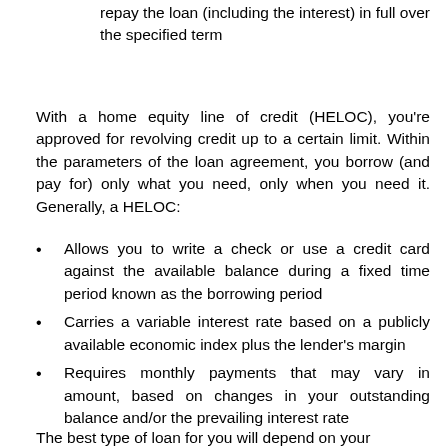repay the loan (including the interest) in full over the specified term
With a home equity line of credit (HELOC), you're approved for revolving credit up to a certain limit. Within the parameters of the loan agreement, you borrow (and pay for) only what you need, only when you need it. Generally, a HELOC:
Allows you to write a check or use a credit card against the available balance during a fixed time period known as the borrowing period
Carries a variable interest rate based on a publicly available economic index plus the lender's margin
Requires monthly payments that may vary in amount, based on changes in your outstanding balance and/or the prevailing interest rate
The best type of loan for you will depend on your